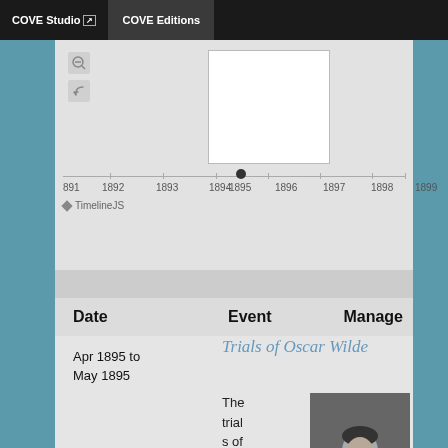COVE Studio | COVE Editions
[Figure (screenshot): Timeline visualization showing years 1891-1899 with a selected point at 1895 and a popup/tooltip box above it. Controls include zoom and back icons on the left. TimelineJS label at bottom left of timeline.]
Date | Event | Manage
Apr 1895 to May 1895
Trials of Oscar Wilde
The trials of Oscar Wilde, which
[Figure (photo): Black and white portrait photograph of Oscar Wilde, seated and posing with hand near face.]